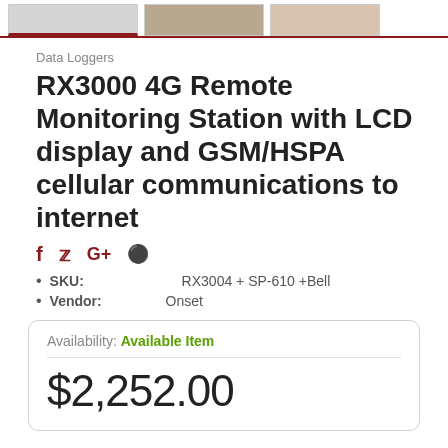[Figure (photo): Three product image thumbnails at top of page; first one selected with red underline border]
Data Loggers
RX3000 4G Remote Monitoring Station with LCD display and GSM/HSPA cellular communications to internet
[Figure (infographic): Social media share icons: Facebook (f), Twitter (bird), Google+ (G+), Pinterest (pin)]
SKU:    RX3004 + SP-610 +Bell
Vendor:    Onset
Availability: Available Item
$2,252.00